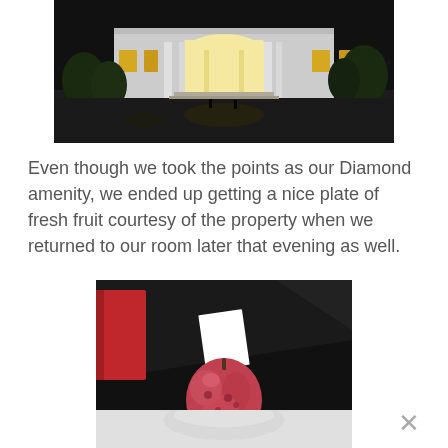[Figure (photo): Nighttime aerial photo of a neoclassical building with illuminated arched entrance and columns, surrounded by trees and plaza]
Even though we took the points as our Diamond amenity, we ended up getting a nice plate of fresh fruit courtesy of the property when we returned to our room later that evening as well.
[Figure (photo): Photo of a plate of fresh fruit (appears to be a red/pink fruit like an apple or pomegranate) with a white note card on a dark surface, with a red book/folder partially visible on the left]